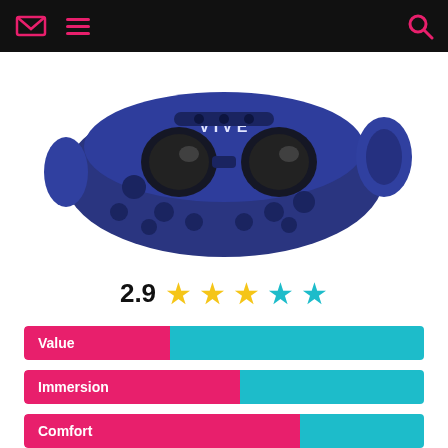Navigation header with email icon, menu icon, and search icon
[Figure (photo): HTC Vive Pro VR headset in dark blue/navy color, angled view showing front with sensors]
2.9 (rating with 3 gold stars and 2 teal stars)
[Figure (bar-chart): Category ratings]